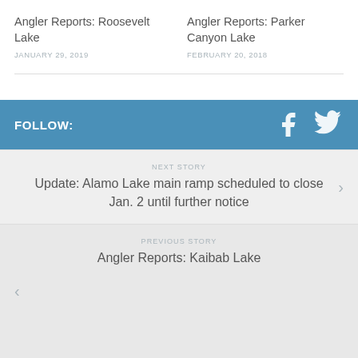Angler Reports: Roosevelt Lake
JANUARY 29, 2019
Angler Reports: Parker Canyon Lake
FEBRUARY 20, 2018
FOLLOW:
NEXT STORY
Update: Alamo Lake main ramp scheduled to close Jan. 2 until further notice
PREVIOUS STORY
Angler Reports: Kaibab Lake